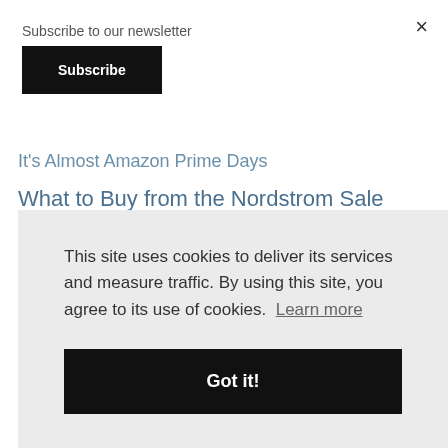Subscribe to our newsletter
Subscribe
×
It's Almost Amazon Prime Days
What to Buy from the Nordstrom Sale
The Easiest Clothing to Wear
The Best Mo... [partial]
This site uses cookies to deliver its services and measure traffic. By using this site, you agree to its use of cookies. Learn more
Got it!